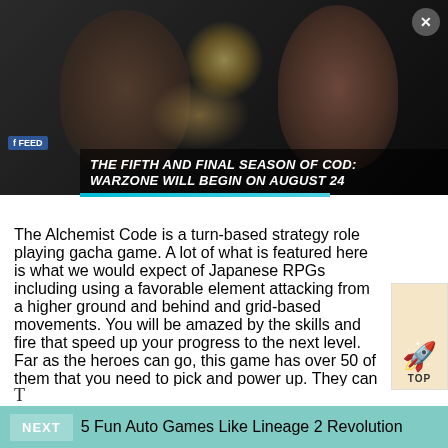[Figure (screenshot): Video game advertisement showing two armed characters in a dark setting with sparks/gunfire between them. Text overlay reads 'THE FIFTH AND FINAL SEASON OF COD: WARZONE WILL BEGIN ON AUGUST 24'. Includes a close (X) button in the top right and a Facebook badge.]
The Alchemist Code is a turn-based strategy role playing gacha game. A lot of what is featured here is what we would expect of Japanese RPGs including using a favorable element attacking from a higher ground and behind and grid-based movements. You will be amazed by the skills and fire that speed up your progress to the next level. Far as the heroes can go, this game has over 50 of them that you need to pick and power up. They can unlock three different jobs each coming with its unique skillset.
[Figure (illustration): Small rocket/space shuttle illustration badge with 'TOP' text below it, positioned at the bottom right of the article text area.]
T